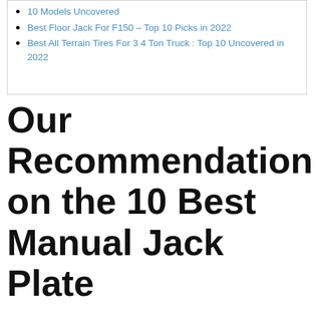10 Models Uncovered
Best Floor Jack For F150 – Top 10 Picks in 2022
Best All Terrain Tires For 3 4 Ton Truck : Top 10 Uncovered in 2022
Our Recommendation on the 10 Best Manual Jack Plate
1. VEVOR Hydraulic Long Ram Jack, 8 Tons/17636 lbs Capacity, with Dual